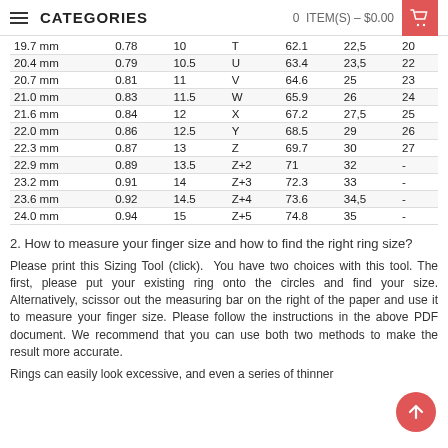CATEGORIES   0 ITEM(S) – $0.00
| mm | in | US/CA | Letter | Circ mm | Circ in | EU |
| --- | --- | --- | --- | --- | --- | --- |
| 19.7 mm | 0.78 | 10 | T | 62.1 | 22,5 | 20 |
| 20.4 mm | 0.79 | 10.5 | U | 63.4 | 23,5 | 22 |
| 20.7 mm | 0.81 | 11 | V | 64.6 | 25 | 23 |
| 21.0 mm | 0.83 | 11.5 | W | 65.9 | 26 | 24 |
| 21.6 mm | 0.84 | 12 | X | 67.2 | 27,5 | 25 |
| 22.0 mm | 0.86 | 12.5 | Y | 68.5 | 29 | 26 |
| 22.3 mm | 0.87 | 13 | Z | 69.7 | 30 | 27 |
| 22.9 mm | 0.89 | 13.5 | Z+2 | 71 | 32 | - |
| 23.2 mm | 0.91 | 14 | Z+3 | 72.3 | 33 | - |
| 23.6 mm | 0.92 | 14.5 | Z+4 | 73.6 | 34,5 | - |
| 24.0 mm | 0.94 | 15 | Z+5 | 74.8 | 35 | - |
2. How to measure your finger size and how to find the right ring size?
Please print this Sizing Tool (click).  You have two choices with this tool. The first, please put your existing ring onto the circles and find your size. Alternatively, scissor out the measuring bar on the right of the paper and use it to measure your finger size. Please follow the instructions in the above PDF document. We recommend that you can use both two methods to make the result more accurate.
Rings can easily look excessive, and even a series of thinner rings can look overwhelming if you are wearing too many on one hand.